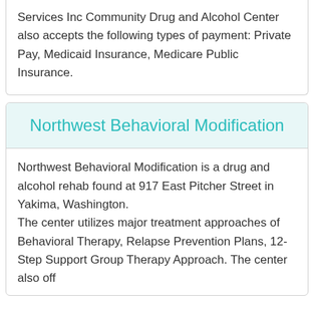Services Inc Community Drug and Alcohol Center also accepts the following types of payment: Private Pay, Medicaid Insurance, Medicare Public Insurance.
Northwest Behavioral Modification
Northwest Behavioral Modification is a drug and alcohol rehab found at 917 East Pitcher Street in Yakima, Washington.
The center utilizes major treatment approaches of Behavioral Therapy, Relapse Prevention Plans, 12-Step Support Group Therapy Approach. The center also off...